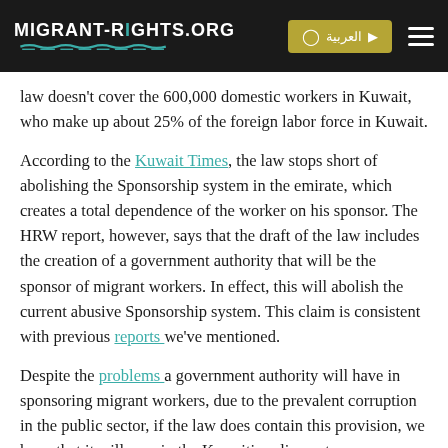MIGRANT-RIGHTS.ORG
law doesn't cover the 600,000 domestic workers in Kuwait, who make up about 25% of the foreign labor force in Kuwait.
According to the Kuwait Times, the law stops short of abolishing the Sponsorship system in the emirate, which creates a total dependence of the worker on his sponsor. The HRW report, however, says that the draft of the law includes the creation of a government authority that will be the sponsor of migrant workers. In effect, this will abolish the current abusive Sponsorship system. This claim is consistent with previous reports we've mentioned.
Despite the problems a government authority will have in sponsoring migrant workers, due to the prevalent corruption in the public sector, if the law does contain this provision, we hope that it will pass in the Kuwaiti parliament.